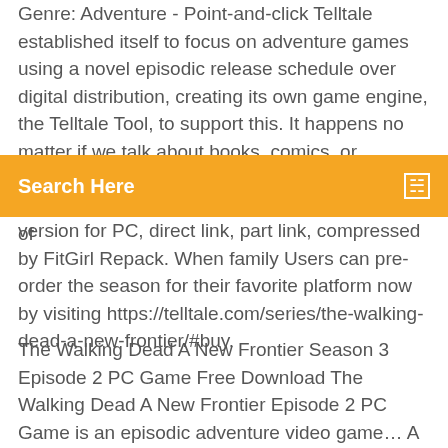Genre: Adventure - Point-and-click Telltale established itself to focus on adventure games using a novel episodic release schedule over digital distribution, creating its own game engine, the Telltale Tool, to support this. It happens no matter if we talk about books, comics, or computer games. The Walking Dead A Telltale Games Series Season Three is the third series of
Search Here
version for PC, direct link, part link, compressed by FitGirl Repack. When family Users can pre-order the season for their favorite platform now by visiting https://telltale.com/series/the-walking-dead-a-new-frontier/#buy.
The Walking Dead A New Frontier Season 3 Episode 2 PC Game Free Download The Walking Dead A New Frontier Episode 2 PC Game is an episodic adventure video game… A blog post on the official Minecraft site warns that even players that own Minecraft: Story Mode, seasons one or two, may not be